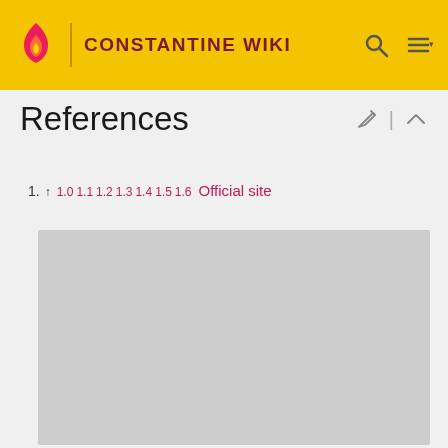CONSTANTINE WIKI
References
1. ↑ 1.0 1.1 1.2 1.3 1.4 1.5 1.6 Official site
[Figure (photo): Gray placeholder image box]